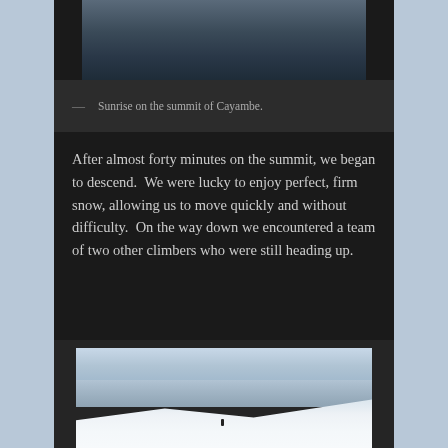[Figure (photo): Sunrise photo at the summit of Cayambe — dark sky and clouds visible at top]
— Sunrise on the summit of Cayambe.
After almost forty minutes on the summit, we began to descend.  We were lucky to enjoy perfect, firm snow, allowing us to move quickly and without difficulty.  On the way down we encountered a team of two other climbers who were still heading up.
[Figure (photo): A lone climber descending a steep snow slope on Cayambe with clouds and sky in the background]